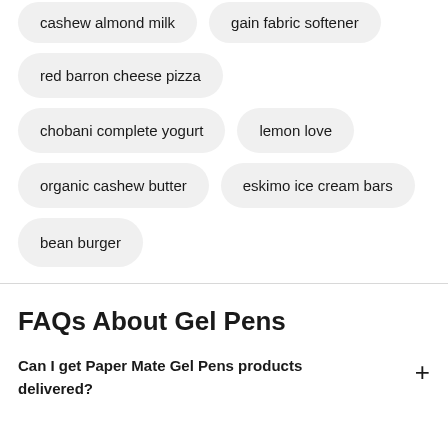cashew almond milk
gain fabric softener
red barron cheese pizza
chobani complete yogurt
lemon love
organic cashew butter
eskimo ice cream bars
bean burger
FAQs About Gel Pens
Can I get Paper Mate Gel Pens products delivered?